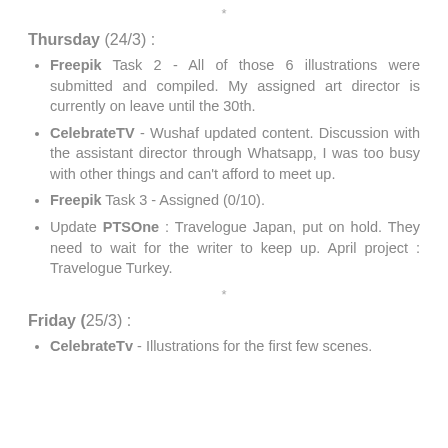*
Thursday (24/3) :
Freepik Task 2 - All of those 6 illustrations were submitted and compiled. My assigned art director is currently on leave until the 30th.
CelebrateTV - Wushaf updated content. Discussion with the assistant director through Whatsapp, I was too busy with other things and can't afford to meet up.
Freepik Task 3 - Assigned (0/10).
Update PTSOne : Travelogue Japan, put on hold. They need to wait for the writer to keep up. April project : Travelogue Turkey.
*
Friday (25/3) :
CelebrateTv - Illustrations for the first few scenes.